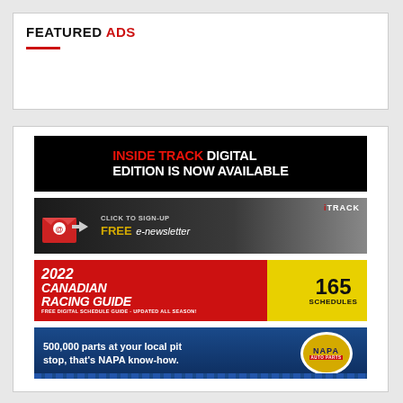FEATURED ADS
[Figure (infographic): Inside Track Digital Edition Is Now Available - black background banner ad with red and white bold text]
[Figure (infographic): Click to Sign-Up FREE e-newsletter - dark background ad with envelope icon, Track logo, and gold/white text]
[Figure (infographic): 2022 Canadian Racing Guide - red banner with 165 Schedules badge, free digital schedule guide updated all season]
[Figure (infographic): NAPA Auto Parts - 500,000 parts at your local pit stop, that's NAPA know-how. Blue banner with NAPA Auto Parts logo]